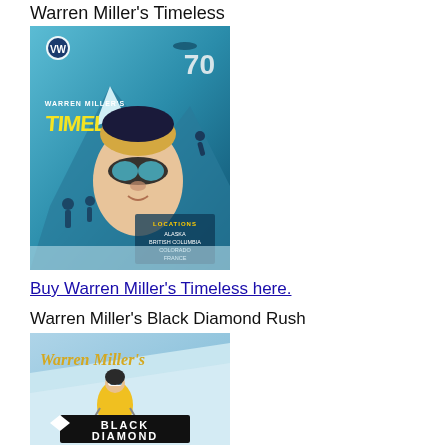Warren Miller's Timeless
[Figure (illustration): Movie poster for Warren Miller's Timeless (70th film). Features a female skier's face with reflective goggles, mountain backdrop, teal/blue icy tones, VW logo sponsor, text listing locations: Alaska, British Columbia, Colorado, France, Switzerland, Wyoming. Yellow 'TIMELESS' logo in stylized text.]
Buy Warren Miller's Timeless here.
Warren Miller's Black Diamond Rush
[Figure (illustration): Movie poster for Warren Miller's Black Diamond Rush. Shows a skier in yellow jacket racing downhill, with 'Warren Miller's' in gold script at top and 'BLACK DIAMOND' visible at bottom.]